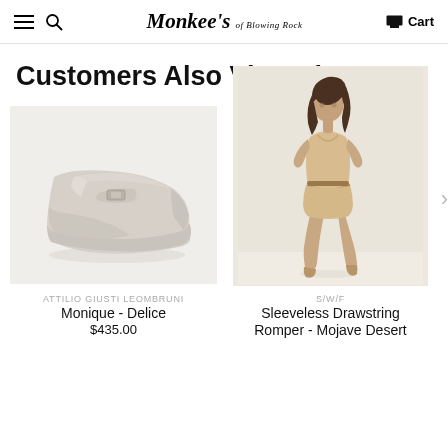Monkee's of Blowing Rock — Cart
Customers Also Viewed
[Figure (photo): Beige/cream suede chunky loafer with a metal buckle detail, chunky lug sole, displayed on a light background]
ATTILIO GIUSTI LEOMBRUNI
Monique - Delice
$435.00
[Figure (photo): Female model wearing a sleeveless beige/sand romper with a drawstring waist and shorts, standing against a white background]
S/W/F
Sleeveless Drawstring Romper - Mojave Desert